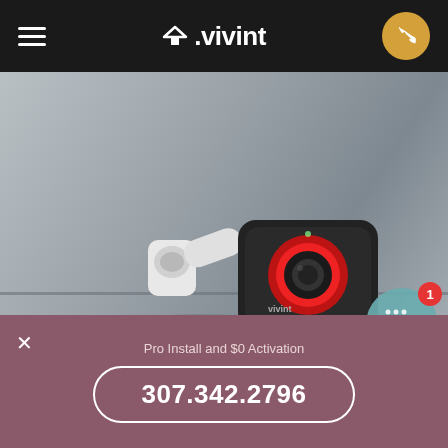≡  △.vivint  [phone icon]
[Figure (photo): Vivint outdoor security camera mounted on a metal wall/door surface. The camera is white with a black front face featuring a red ring around the lens. The background is a grey metallic surface. A teal chat bubble icon with a notification badge showing '1' is overlaid in the bottom right.]
Ten Sleep residents enjoy
Pro Install and $0 Activation
307.342.2796